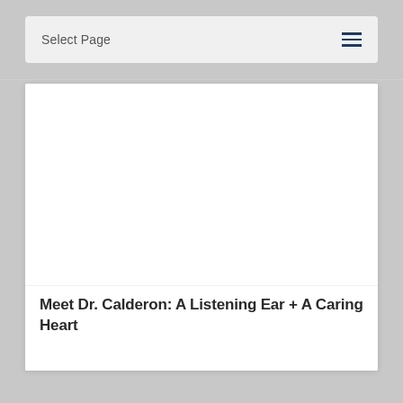Select Page
[Figure (photo): White/blank image area representing a photo of Dr. Calderon]
Meet Dr. Calderon: A Listening Ear + A Caring Heart